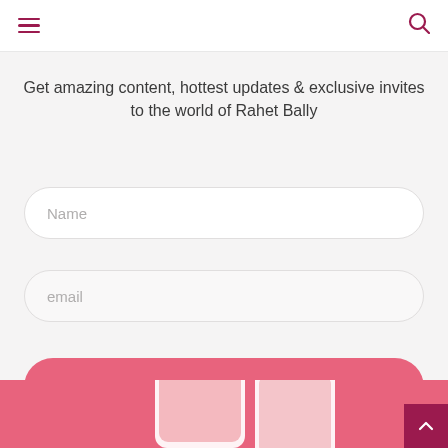Navigation header with hamburger menu and search icon
Get amazing content, hottest updates & exclusive invites to the world of Rahet Bally
Name
email
SUBSCRIBE
[Figure (screenshot): Bottom pink section with partial smartphone silhouette and back-to-top button]